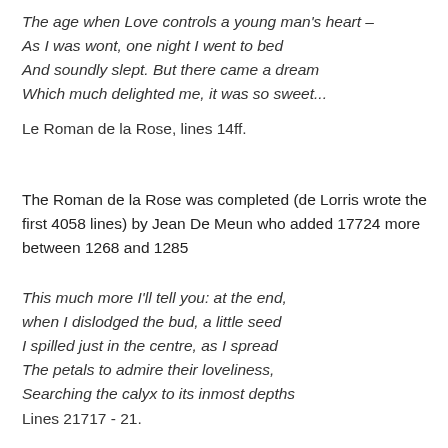The age when Love controls a young man's heart –
As I was wont, one night I went to bed
And soundly slept. But there came a dream
Which much delighted me, it was so sweet...
Le Roman de la Rose, lines 14ff.
The Roman de la Rose was completed (de Lorris wrote the first 4058 lines) by Jean De Meun who added 17724 more between 1268 and 1285
This much more I'll tell you: at the end,
when I dislodged the bud, a little seed
I spilled just in the centre, as I spread
The petals to admire their loveliness,
Searching the calyx to its inmost depths
Lines 21717 - 21.